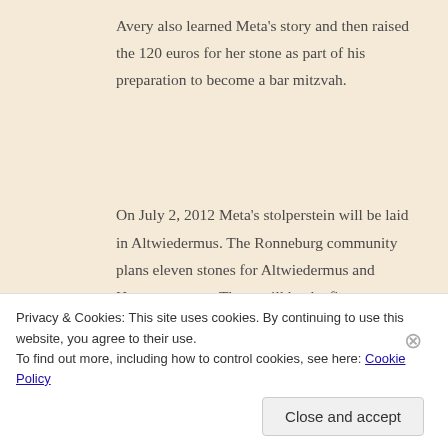Avery also learned Meta's story and then raised the 120 euros for her stone as part of his preparation to become a bar mitzvah.
On July 2, 2012 Meta's stolperstein will be laid in Altwiedermus. The Ronneburg community plans eleven stones for Altwiedermus and Huettengesaess. These will be the first stolpersteins in this rural Hessen area and the artist Gunter Demnig will be present to mark the occasion.  Our family will be
Privacy & Cookies: This site uses cookies. By continuing to use this website, you agree to their use.
To find out more, including how to control cookies, see here: Cookie Policy
Close and accept